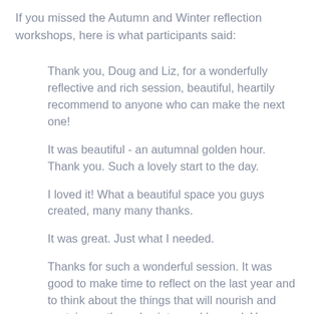If you missed the Autumn and Winter reflection workshops, here is what participants said:
Thank you, Doug and Liz, for a wonderfully reflective and rich session, beautiful, heartily recommend to anyone who can make the next one!
It was beautiful - an autumnal golden hour. Thank you. Such a lovely start to the day.
I loved it! What a beautiful space you guys created, many many thanks.
It was great. Just what I needed.
Thanks for such a wonderful session. It was good to make time to reflect on the last year and to think about the things that will nourish and sustain me through winter and beyond. You complement each other well and created